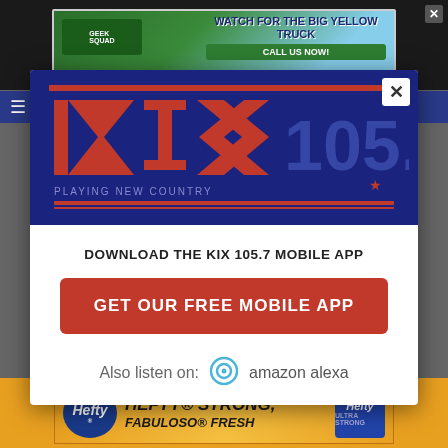[Figure (screenshot): KIX 105.7 radio station mobile app download modal popup over a website background. The modal contains the KIX 105.7 logo on a dark blue background, text 'DOWNLOAD THE KIX 105.7 MOBILE APP', a red button 'GET OUR FREE MOBILE APP', and 'Also listen on: amazon alexa' with Alexa icon. Background shows website header, navigation bar, and two advertisement banners (Geek Squad/yellow truck ad at top, Hefty/Fabuloso ad at bottom).]